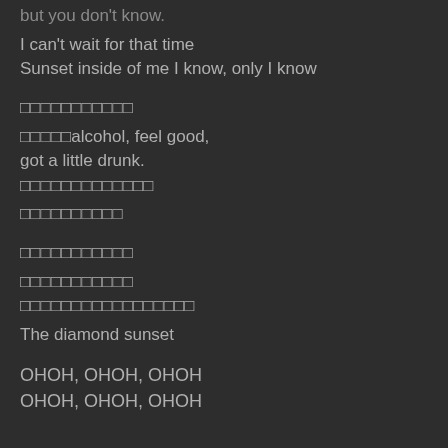but you don't know.
I can't wait for that time
Sunset inside of me I know, only I know
□□□□□□□□□□□
□□□□□alcohol, feel good, got a little drunk.
□□□□□□□□□□□□□
□□□□□□□□□□
□□□□□□□□□□□
□□□□□□□□□□□
□□□□□□□□□□□□□□□□□
The diamond sunset
OHOH, OHOH, OHOH
OHOH, OHOH, OHOH